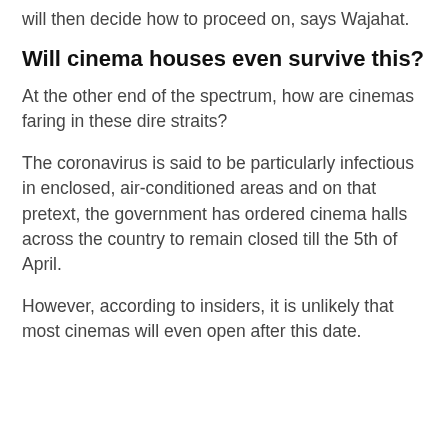will then decide how to proceed on, says Wajahat.
Will cinema houses even survive this?
At the other end of the spectrum, how are cinemas faring in these dire straits?
The coronavirus is said to be particularly infectious in enclosed, air-conditioned areas and on that pretext, the government has ordered cinema halls across the country to remain closed till the 5th of April.
However, according to insiders, it is unlikely that most cinemas will even open after this date.